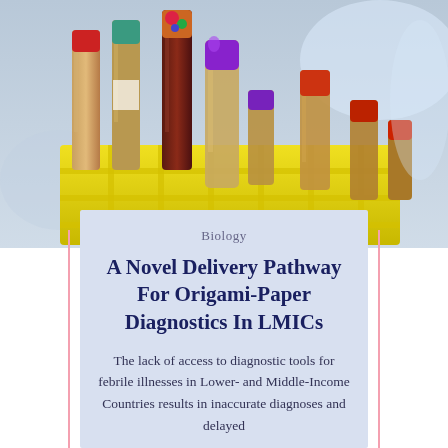[Figure (photo): Photograph of colorful laboratory blood collection tubes (red, green, teal, purple caps) arranged in a yellow rack, viewed from a low angle against a blurred background.]
Biology
A Novel Delivery Pathway For Origami-Paper Diagnostics In LMICs
The lack of access to diagnostic tools for febrile illnesses in Lower- and Middle-Income Countries results in inaccurate diagnoses and delayed